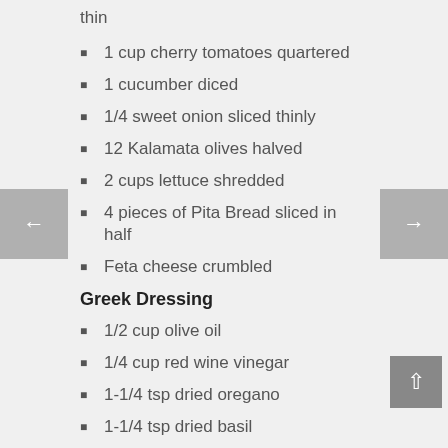thin
1 cup cherry tomatoes quartered
1 cucumber diced
1/4 sweet onion sliced thinly
12 Kalamata olives halved
2 cups lettuce shredded
4 pieces of Pita Bread sliced in half
Feta cheese crumbled
Greek Dressing
1/2 cup olive oil
1/4 cup red wine vinegar
1-1/4 tsp dried oregano
1-1/4 tsp dried basil
1-1/4 tsp garlic powder
1 tsp salt
1 tsp pepper